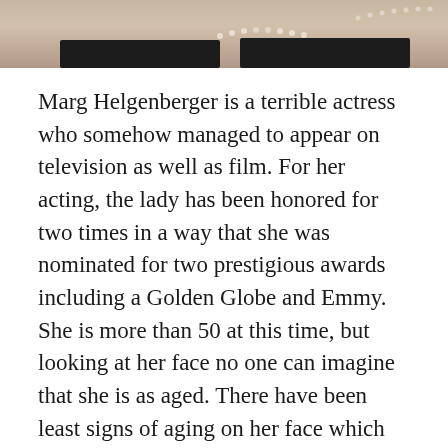[Figure (photo): Cropped photo of Marg Helgenberger, showing her neck and shoulders area with a dark outfit and pearl necklace]
Marg Helgenberger is a terrible actress who somehow managed to appear on television as well as film. For her acting, the lady has been honored for two times in a way that she was nominated for two prestigious awards including a Golden Globe and Emmy. She is more than 50 at this time, but looking at her face no one can imagine that she is as aged. There have been least signs of aging on her face which do not allow her to get aged. Furthermore, the facial skin of the lady is also looking stretched which is another hurdle in understanding her actual age.